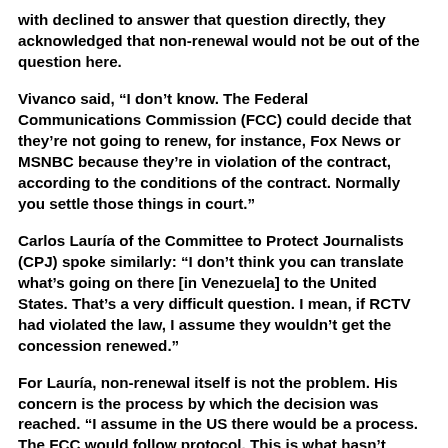with declined to answer that question directly, they acknowledged that non-renewal would not be out of the question here.
Vivanco said, “I don’t know. The Federal Communications Commission (FCC) could decide that they’re not going to renew, for instance, Fox News or MSNBC because they’re in violation of the contract, according to the conditions of the contract. Normally you settle those things in court.”
Carlos Lauría of the Committee to Protect Journalists (CPJ) spoke similarly: “I don’t think you can translate what’s going on there [in Venezuela] to the United States. That’s a very difficult question. I mean, if RCTV had violated the law, I assume they wouldn’t get the concession renewed.”
For Lauría, non-renewal itself is not the problem. His concern is the process by which the decision was reached. “I assume in the US there would be a process. The FCC would follow protocol. This is what hasn’t happened in Venezuela. We’re not saying that the...